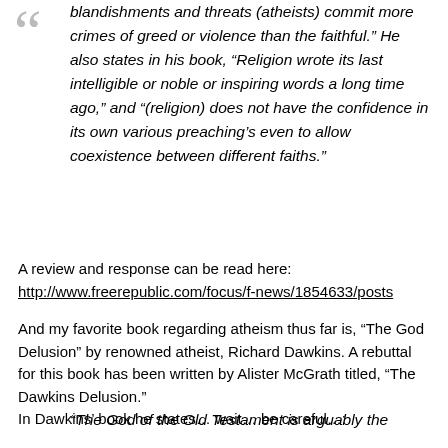blandishments and threats (atheists) commit more crimes of greed or violence than the faithful.” He also states in his book, “Religion wrote its last intelligible or noble or inspiring words a long time ago,” and “(religion) does not have the confidence in its own various preaching’s even to allow coexistence between different faiths.”
A review and response can be read here: http://www.freerepublic.com/focus/f-news/1854633/posts
And my favorite book regarding atheism thus far is, “The God Delusion” by renowned atheist, Richard Dawkins. A rebuttal for this book has been written by Alister McGrath titled, “The Dawkins Delusion.”
In Dawkins’ book he states… wait… be careful…:
“The God of the Old Testament is arguably the